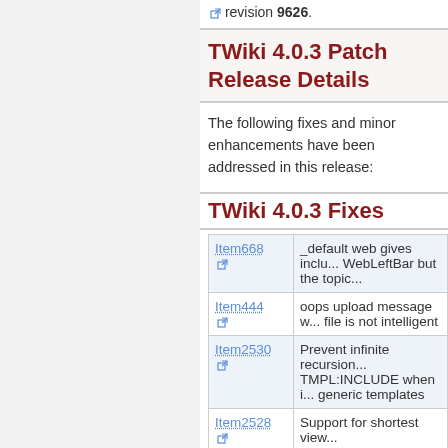revision 9626.
TWiki 4.0.3 Patch Release Details
The following fixes and minor enhancements have been addressed in this release:
TWiki 4.0.3 Fixes
| Item | Description |
| --- | --- |
| Item668 | _default web gives inclu... WebLeftBar but the topic... |
| Item444 | oops upload message w... file is not intelligent |
| Item2530 | Prevent infinite recursion... TMPL:INCLUDE when i... generic templates |
| Item2528 | Support for shortest view... |
| Item2524 | Make templates indeper... |